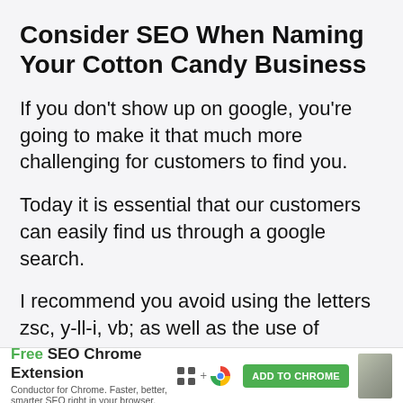Consider SEO When Naming Your Cotton Candy Business
If you don’t show up on google, you’re going to make it that much more challenging for customers to find you.
Today it is essential that our customers can easily find us through a google search.
I recommend you avoid using the letters zsc, y-ll-i, vb; as well as the use of numbers and
[Figure (infographic): Advertisement bar: Free SEO Chrome Extension by Conductor for Chrome. Faster, better, smarter SEO right in your browser. ADD TO CHROME button in green.]